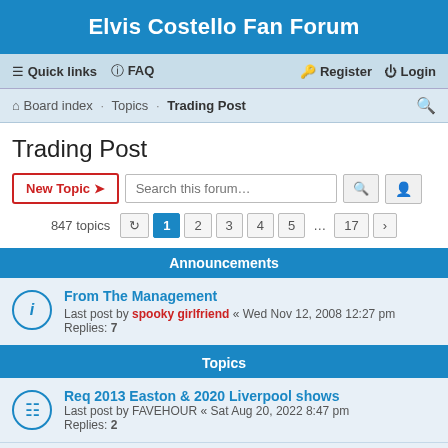Elvis Costello Fan Forum
Quick links  FAQ  Register  Login
Board index · Topics · Trading Post
Trading Post
New Topic  Search this forum…  847 topics  1 2 3 4 5 … 17
Announcements
From The Management
Last post by spooky girlfriend « Wed Nov 12, 2008 12:27 pm
Replies: 7
Topics
Req 2013 Easton & 2020 Liverpool shows
Last post by FAVEHOUR « Sat Aug 20, 2022 8:47 pm
Replies: 2
LUPETONIANS 78" for sale
Last post by cfm123 « Sat Aug 20, 2022 4:50 pm
Replies: 4
REDUCED For Sale 3rd row Pit Huber Heights Ohio August 6th
Last post by FAVEHOUR ...